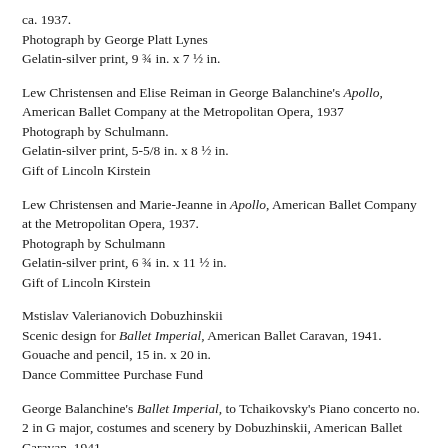ca. 1937.
Photograph by George Platt Lynes
Gelatin-silver print, 9 ¾ in. x 7 ½ in.
Lew Christensen and Elise Reiman in George Balanchine's Apollo, American Ballet Company at the Metropolitan Opera, 1937
Photograph by Schulmann.
Gelatin-silver print, 5-5/8 in. x 8 ½ in.
Gift of Lincoln Kirstein
Lew Christensen and Marie-Jeanne in Apollo, American Ballet Company at the Metropolitan Opera, 1937.
Photograph by Schulmann
Gelatin-silver print, 6 ¾ in. x 11 ½ in.
Gift of Lincoln Kirstein
Mstislav Valerianovich Dobuzhinskii
Scenic design for Ballet Imperial, American Ballet Caravan, 1941.
Gouache and pencil, 15 in. x 20 in.
Dance Committee Purchase Fund
George Balanchine's Ballet Imperial, to Tchaikovsky's Piano concerto no. 2 in G major, costumes and scenery by Dobuzhinskii, American Ballet Caravan, 1941.
Photograph by Philippe Halsman